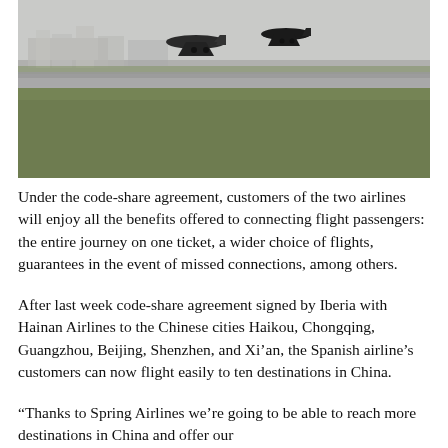[Figure (photo): Airplane on a runway with grass and buildings in the background, taken from ground level.]
Under the code-share agreement, customers of the two airlines will enjoy all the benefits offered to connecting flight passengers: the entire journey on one ticket, a wider choice of flights, guarantees in the event of missed connections, among others.
After last week code-share agreement signed by Iberia with Hainan Airlines to the Chinese cities Haikou, Chongqing, Guangzhou, Beijing, Shenzhen, and Xi'an, the Spanish airline's customers can now flight easily to ten destinations in China.
“Thanks to Spring Airlines we’re going to be able to reach more destinations in China and offer our